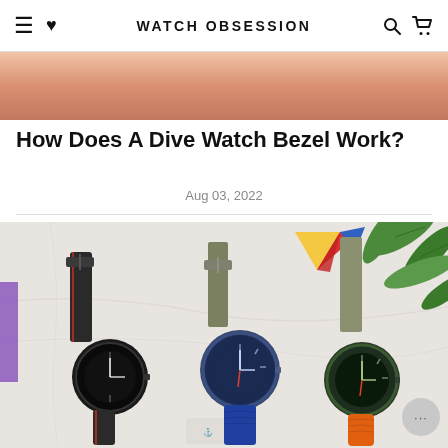WATCH OBSESSION
[Figure (photo): Partial top image showing skin/rose-colored background]
How Does A Dive Watch Bezel Work?
Aug 03, 2022
[Figure (photo): Flatlay photo of three dive watches with various straps (black leather with red, khaki NATO, blue alligator, khaki NATO, orange rubber) on a white marble surface with colorful geometric origami decorations and green tropical leaves in background]